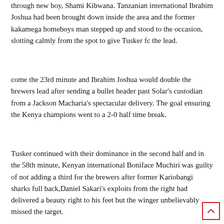through new boy, Shami Kibwana. Tanzanian international Ibrahim Joshua had been brought down inside the area and the former kakamega homeboys man stepped up and stood to the occasion, slotting calmly from the spot to give Tusker fc the lead.
come the 23rd minute and Ibrahim Joshua would double the brewers lead after sending a bullet header past Solar's custodian from a Jackson Macharia's spectacular delivery. The goal ensuring the Kenya champions went to a 2-0 half time break.
Tusker continued with their dominance in the second half and in the 58th minute, Kenyan international Boniface Muchiri was guilty of not adding a third for the brewers after former Kariobangi sharks full back,Daniel Sakari's exploits from the right had delivered a beauty right to his feet but the winger unbelievably missed the target.